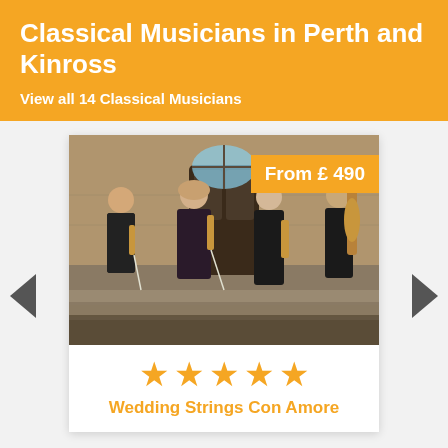Classical Musicians in Perth and Kinross
View all 14 Classical Musicians
[Figure (photo): Four string quartet musicians in black formal wear standing on stone steps in front of a building entrance, holding violins, violas and cello with bows]
From £ 490
★★★★★
Wedding Strings Con Amore